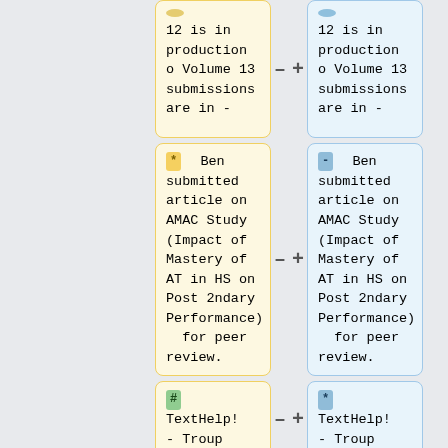12 is in production o Volume 13 submissions are in -
12 is in production o Volume 13 submissions are in -
* Ben submitted article on AMAC Study (Impact of Mastery of AT in HS on Post 2ndary Performance) for peer review.
- Ben submitted article on AMAC Study (Impact of Mastery of AT in HS on Post 2ndary Performance) for peer review.
# TextHelp! - Troup County (LaGrange,
* TextHelp! - Troup County (LaGrange,